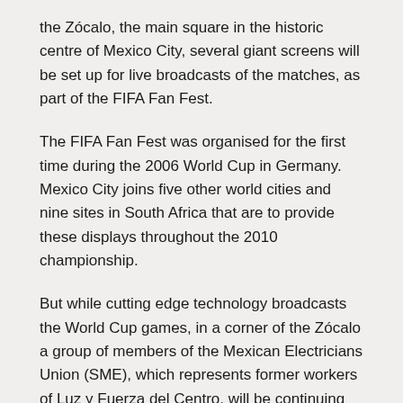the Zócalo, the main square in the historic centre of Mexico City, several giant screens will be set up for live broadcasts of the matches, as part of the FIFA Fan Fest.
The FIFA Fan Fest was organised for the first time during the 2006 World Cup in Germany. Mexico City joins five other world cities and nine sites in South Africa that are to provide these displays throughout the 2010 championship.
But while cutting edge technology broadcasts the World Cup games, in a corner of the Zócalo a group of members of the Mexican Electricians Union (SME), which represents former workers of Luz y Fuerza del Centro, will be continuing their protest and hunger strike against the government's decision to shut down the company.